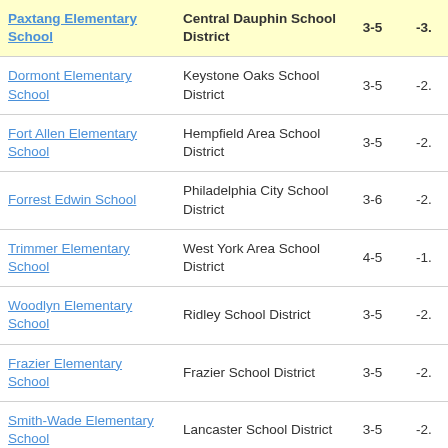| School | District | Grades | Score |
| --- | --- | --- | --- |
| Paxtang Elementary School | Central Dauphin School District | 3-5 | -3. |
| Dormont Elementary School | Keystone Oaks School District | 3-5 | -2. |
| Fort Allen Elementary School | Hempfield Area School District | 3-5 | -2. |
| Forrest Edwin School | Philadelphia City School District | 3-6 | -2. |
| Trimmer Elementary School | West York Area School District | 4-5 | -1. |
| Woodlyn Elementary School | Ridley School District | 3-5 | -2. |
| Frazier Elementary School | Frazier School District | 3-5 | -2. |
| Smith-Wade Elementary School | Lancaster School District | 3-5 | -2. |